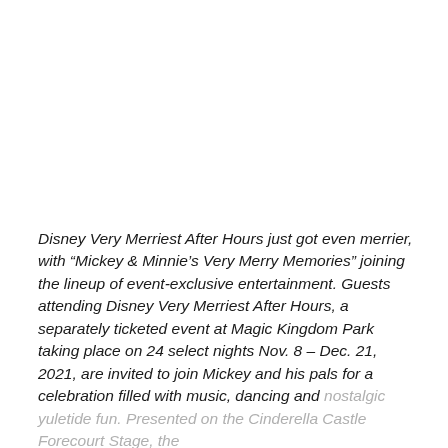Disney Very Merriest After Hours just got even merrier, with “Mickey & Minnie’s Very Merry Memories” joining the lineup of event-exclusive entertainment. Guests attending Disney Very Merriest After Hours, a separately ticketed event at Magic Kingdom Park taking place on 24 select nights Nov. 8 – Dec. 21, 2021, are invited to join Mickey and his pals for a celebration filled with music, dancing and nostalgic yuletide fun. Presented on the Cinderella Castle Forecourt Stage, the